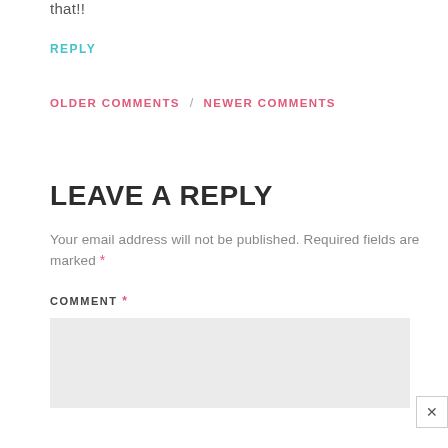that!!
REPLY
OLDER COMMENTS  /  NEWER COMMENTS
LEAVE A REPLY
Your email address will not be published. Required fields are marked *
COMMENT *